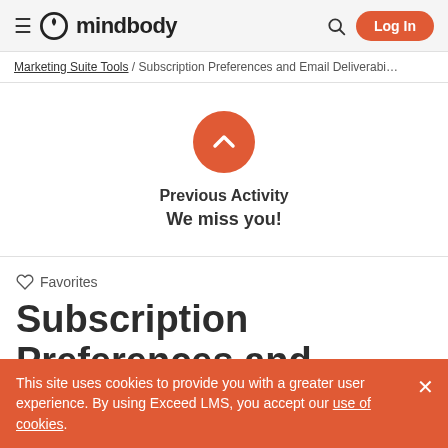≡ mindbody  🔍  Log In
Marketing Suite Tools / Subscription Preferences and Email Deliverabi…
[Figure (illustration): Orange circle with white upward chevron icon representing Previous Activity section]
Previous Activity
We miss you!
♡  Favorites
Subscription Preferences and
This site uses cookies to provide you with a greater user experience. By using Exceed LMS, you accept our use of cookies.